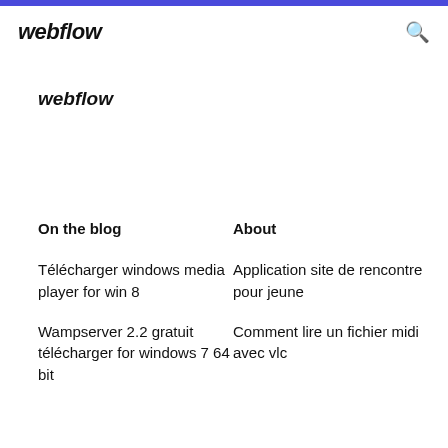webflow
webflow
On the blog
About
Télécharger windows media player for win 8
Application site de rencontre pour jeune
Wampserver 2.2 gratuit télécharger for windows 7 64 bit
Comment lire un fichier midi avec vlc